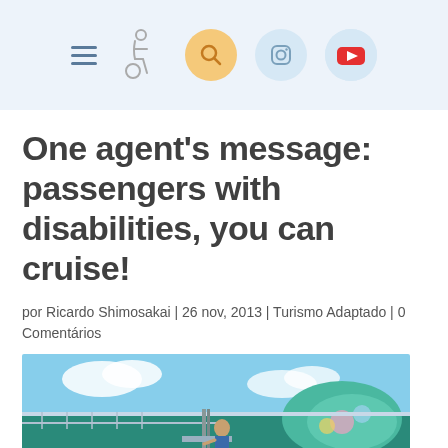Navigation header with hamburger menu, wheelchair icon, search, Instagram, and YouTube icons
One agent's message: passengers with disabilities, you can cruise!
por Ricardo Shimosakai | 26 nov, 2013 | Turismo Adaptado | 0 Comentários
[Figure (photo): Photo of a cruise ship deck with passengers, a person sitting on a lift chair and another person below, colorful cruise ship background with blue skies]